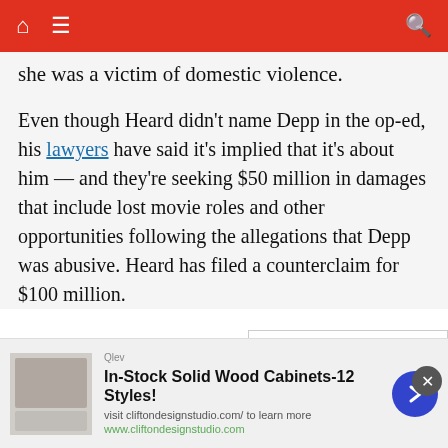Navigation bar with home, menu, and search icons
she was a victim of domestic violence.
Even though Heard didn't name Depp in the op-ed, his lawyers have said it's implied that it's about him — and they're seeking $50 million in damages that include lost movie roles and other opportunities following the allegations that Depp was abusive. Heard has filed a counterclaim for $100 million.
[Figure (photo): Promoted ad images: left side shows before/after weight loss photos of a woman in black bikini top; right side shows gold bars stacked on financial documents]
[Figure (screenshot): Bottom advertisement banner for In-Stock Solid Wood Cabinets-12 Styles! with URL www.cliftondesignstudio.com and a blue arrow button]